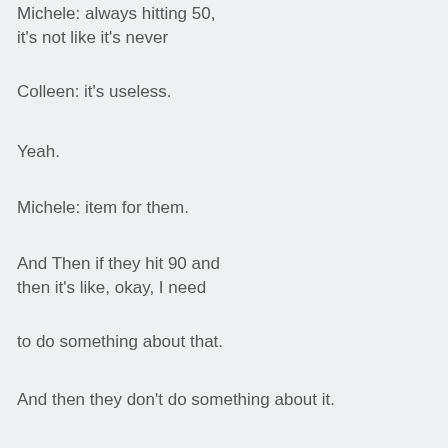Michele: always hitting 50, it's not like it's never
Colleen: it's useless.
Yeah.
Michele: item for them.
And Then if they hit 90 and then it's like, okay, I need
to do something about that.
And then they don't do something about it.
And then their user can upload files.
Then that is a, that, that is what, what do they call it.